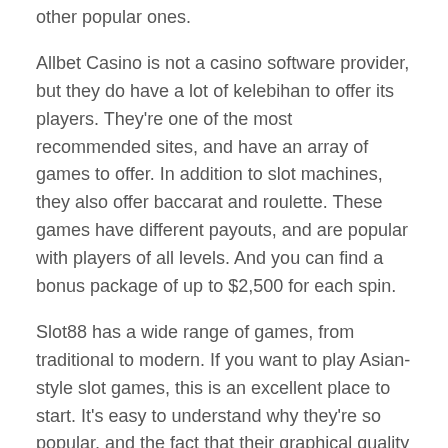other popular ones.
Allbet Casino is not a casino software provider, but they do have a lot of kelebihan to offer its players. They're one of the most recommended sites, and have an array of games to offer. In addition to slot machines, they also offer baccarat and roulette. These games have different payouts, and are popular with players of all levels. And you can find a bonus package of up to $2,500 for each spin.
Slot88 has a wide range of games, from traditional to modern. If you want to play Asian-style slot games, this is an excellent place to start. It's easy to understand why they're so popular, and the fact that their graphical quality is second to none. The developers of Slot88 are Indonesian, so you can rest assured that you'll have fun. And if you're not into the Asian-style slots, you can try your luck with the popular X-Men games!
The payout percentage of slot games is slightly above the industry average, which is higher than for other casino games.